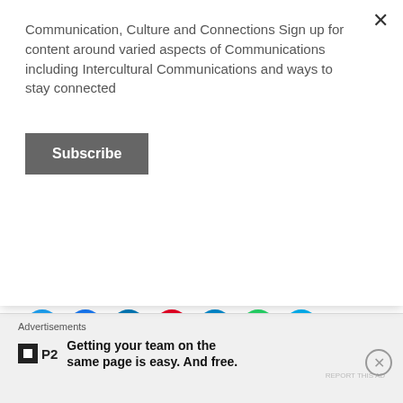Communication, Culture and Connections Sign up for content around varied aspects of Communications including Intercultural Communications and ways to stay connected
Subscribe
all... Continue reading
Sharing is Caring...
[Figure (infographic): Social media sharing icons: Twitter (blue), Facebook (blue), LinkedIn (blue), Pinterest (red), Telegram (blue), WhatsApp (green), Skype (cyan)]
Loading...
Advertisements
Getting your team on the same page is easy. And free.